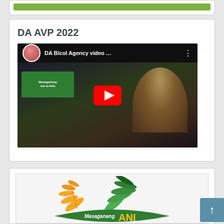[Figure (screenshot): Green banner strip at top of page]
DA AVP 2022
[Figure (screenshot): YouTube video thumbnail for DA Bicol Agency video with play button, channel avatar, and text overlay]
[Figure (logo): Masaganang ANI logo with wheat and leaf design in orange and green colors]